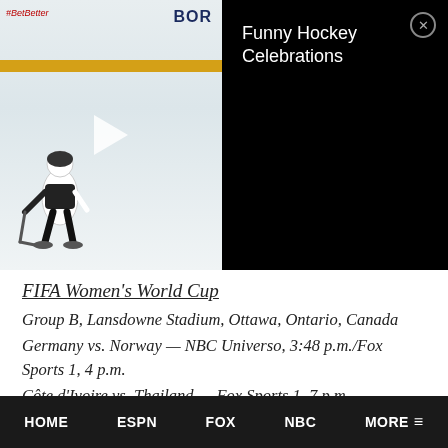[Figure (screenshot): Video thumbnail showing a hockey player on ice rink with play button overlay. Sponsor signage visible at top including 'BetBetter' and 'BOR' text. Yellow dasher board visible.]
Funny Hockey Celebrations
FIFA Women's World Cup
Group B, Lansdowne Stadium, Ottawa, Ontario, Canada
Germany vs. Norway — NBC Universo, 3:48 p.m./Fox Sports 1, 4 p.m.
Côte d'Ivoire vs. Thailand — Fox Sports 1, 7 p.m.
Group A, Commonwealth Stadium, Edmonton, Alberta, Canada
HOME   ESPN   FOX   NBC   MORE